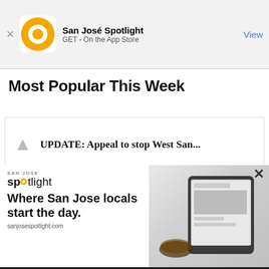[Figure (screenshot): App Store banner for San José Spotlight with orange circular logo, app name, GET - On the App Store subtitle, and View button]
Most Popular This Week
[Figure (screenshot): Article card with small icon and headline: UPDATE: Appeal to stop West San...]
[Figure (advertisement): San José Spotlight ad overlay: logo, tagline 'Where San Jose locals start the day.', sanjosespotlight.com, with tablet device image]
EMAIL ADDRESS
SUBSCRIBE
Thanks, I'm not interested or already a subscriber